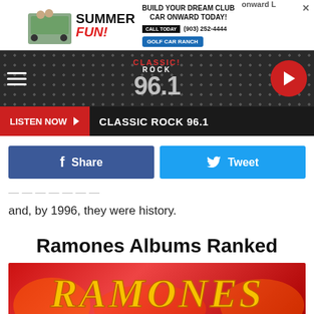[Figure (infographic): Advertisement banner: Summer Fun! Build Your Dream Club Car Onward Today! Call Today (903) 252-4444, Golf Car Ranch. Image of golf cart with people.]
[Figure (logo): Classic Rock 96.1 radio station navigation bar with hamburger menu and play button.]
LISTEN NOW ▶  CLASSIC ROCK 96.1
[Figure (infographic): Facebook Share button (blue) and Twitter Tweet button (light blue)]
and, by 1996, they were history.
Ramones Albums Ranked
[Figure (photo): Image showing the Ramones logo text in yellow/orange flame lettering on a red background.]